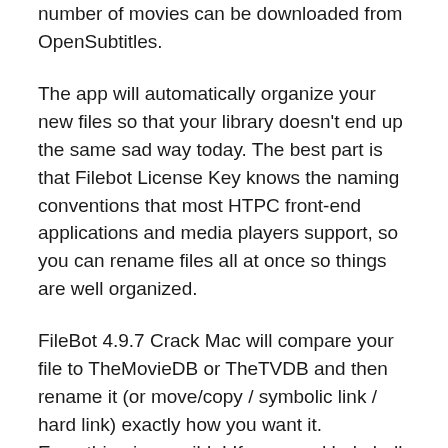number of movies can be downloaded from OpenSubtitles.
The app will automatically organize your new files so that your library doesn't end up the same sad way today. The best part is that Filebot License Key knows the naming conventions that most HTPC front-end applications and media players support, so you can rename files all at once so things are well organized.
FileBot 4.9.7 Crack Mac will compare your file to TheMovieDB or TheTVDB and then rename it (or move/copy / symbolic link / hard link) exactly how you want it. Everything is possible! If you need help bulk extracting files or inspecting SFV / MD5 /